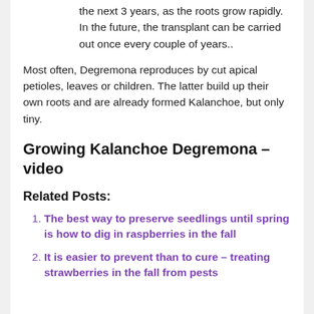the next 3 years, as the roots grow rapidly. In the future, the transplant can be carried out once every couple of years..
Most often, Degremona reproduces by cut apical petioles, leaves or children. The latter build up their own roots and are already formed Kalanchoe, but only tiny.
Growing Kalanchoe Degremona – video
Related Posts:
The best way to preserve seedlings until spring is how to dig in raspberries in the fall
It is easier to prevent than to cure – treating strawberries in the fall from pests